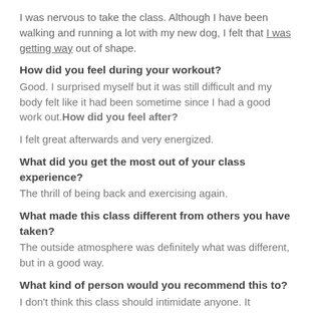I was nervous to take the class. Although I have been walking and running a lot with my new dog, I felt that I was getting way out of shape.
How did you feel during your workout?
Good. I surprised myself but it was still difficult and my body felt like it had been sometime since I had a good work out.How did you feel after?
I felt great afterwards and very energized.
What did you get the most out of your class experience?
The thrill of being back and exercising again.
What made this class different from others you have taken?
The outside atmosphere was definitely what was different, but in a good way.
What kind of person would you recommend this to?
I don't think this class should intimidate anyone. It